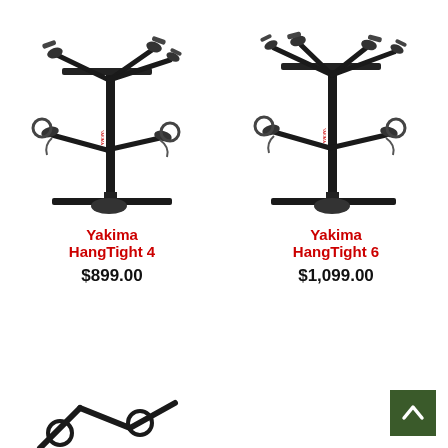[Figure (photo): Yakima HangTight 4 bike hitch rack product photo - black metal rack with 4 bike arm cradles]
Yakima
HangTight 4
$899.00
[Figure (photo): Yakima HangTight 6 bike hitch rack product photo - black metal rack with 6 bike arm cradles]
Yakima
HangTight 6
$1,099.00
[Figure (photo): Partial view of another bike rack product visible at the bottom of the page]
[Figure (other): Back to top button - dark green square with upward-pointing chevron arrow]